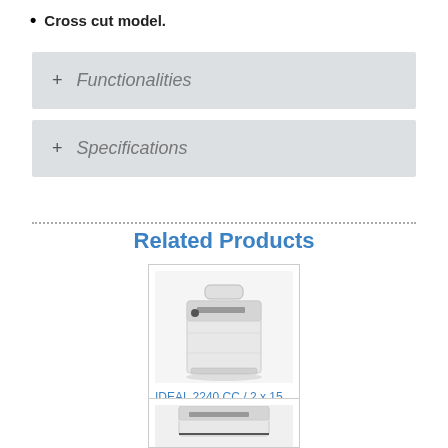Cross cut model.
+ Functionalities
+ Specifications
Related Products
[Figure (photo): Photo of IDEAL 2240 CC paper shredder, a white rectangular office shredder with a carry handle on top]
IDEAL 2240 CC / 2 x 15 mm P-5 Shredder
[Figure (photo): Partial photo of another paper shredder product, showing the top portion]